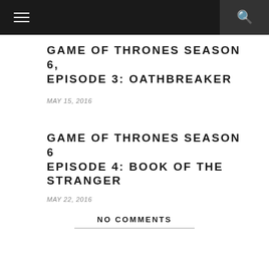Navigation bar with menu and search icons
GAME OF THRONES SEASON 6, EPISODE 3: OATHBREAKER
MAY 15, 2016
GAME OF THRONES SEASON 6 EPISODE 4: BOOK OF THE STRANGER
MAY 22, 2016
NO COMMENTS